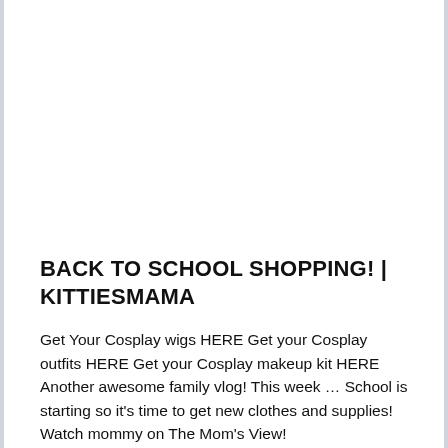BACK TO SCHOOL SHOPPING! | KITTIESMAMA
Get Your Cosplay wigs HERE Get your Cosplay outfits HERE Get your Cosplay makeup kit HERE Another awesome family vlog! This week … School is starting so it's time to get new clothes and supplies! Watch mommy on The Mom's View! http://www.youtube.com/watch?v=aN6cTn9iiYI OUR LINKS: YouTube: